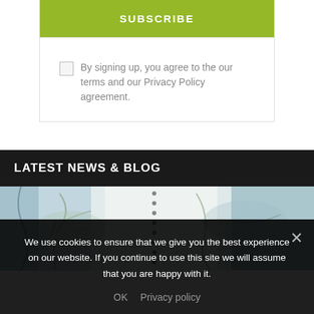SUBSCRIBE
By signing up, you agree to the our terms and our Privacy Policy agreement.
LATEST NEWS & BLOG
[Figure (photo): A sketchbook with nature drawings, trees and branches in pencil and watercolor, spiral bound]
We use cookies to ensure that we give you the best experience on our website. If you continue to use this site we will assume that you are happy with it.
OK   Privacy policy